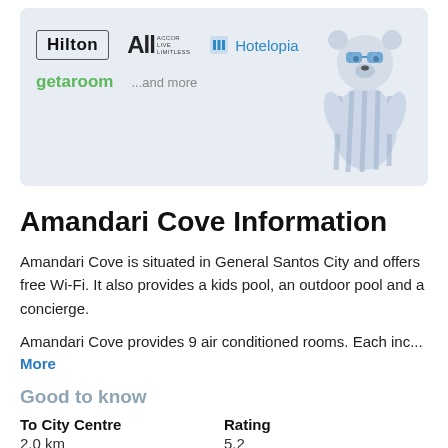[Figure (illustration): Banner with hotel booking partner logos: Hilton, ALL Accor Live Limitless, Hotelopia, getaroom, ...and more, with a cartoon mascot character on the right side]
Amandari Cove Information
Amandari Cove is situated in General Santos City and offers free Wi-Fi. It also provides a kids pool, an outdoor pool and a concierge.
Amandari Cove provides 9 air conditioned rooms. Each inc...
More
Good to know
| To City Centre | Rating |
| --- | --- |
| 2.0 km | 5.2 |